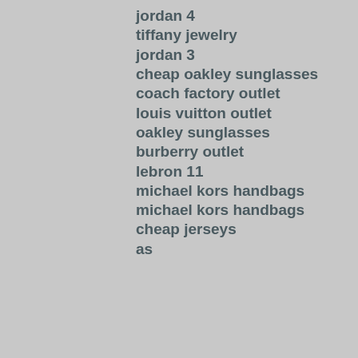jordan 4
tiffany jewelry
jordan 3
cheap oakley sunglasses
coach factory outlet
louis vuitton outlet
oakley sunglasses
burberry outlet
lebron 11
michael kors handbags
michael kors handbags
cheap jerseys
as
Reply
Unknown  July 31, 2016 at 6:48 AM
cheap nfl jerseys
hermes belt
north face jackets
michael kors outlet